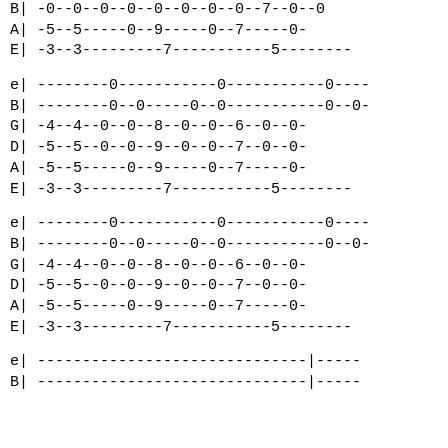B| -0--0--0--0--0--0--0--0--7--0--0
A| -5--5-----0--9-----0--7-----0-
E| -3--3---------7-----------5--------
e| --------0-----------0-----------0----
B| --------0--0-----0--0-----------0--0-
G| -4--4--0--0--8--0--0--6--0--0-
D| -5--5--0--0--9--0--0--7--0--0-
A| -5--5-----0--9-----0--7-----0-
E| -3--3---------7-----------5--------
e| --------0-----------0-----------0----
B| --------0--0-----0--0-----------0--0-
G| -4--4--0--0--8--0--0--6--0--0-
D| -5--5--0--0--9--0--0--7--0--0-
A| -5--5-----0--9-----0--7-----0-
E| -3--3---------7-----------5--------
e| ------------------------------|-----
B| ------------------------------|-----